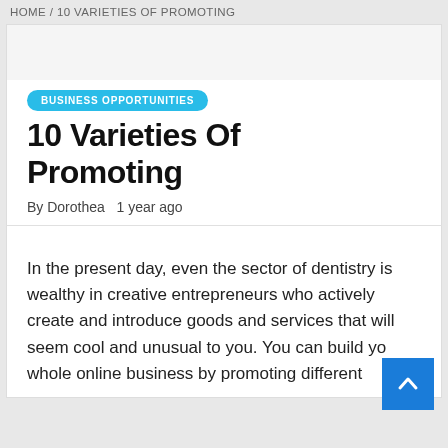HOME / 10 VARIETIES OF PROMOTING
BUSINESS OPPORTUNITIES
10 Varieties Of Promoting
By Dorothea   1 year ago
In the present day, even the sector of dentistry is wealthy in creative entrepreneurs who actively create and introduce goods and services that will seem cool and unusual to you. You can build your whole online business by promoting different